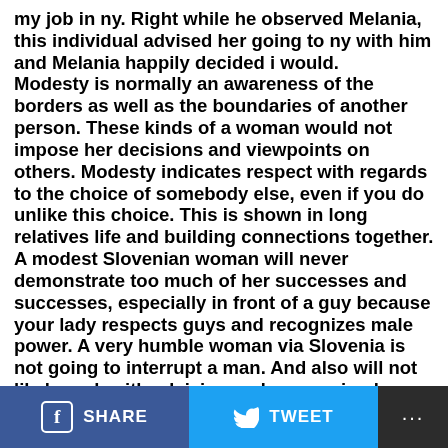my job in ny. Right while he observed Melania, this individual advised her going to ny with him and Melania happily decided i would. Modesty is normally an awareness of the borders as well as the boundaries of another person. These kinds of a woman would not impose her decisions and viewpoints on others. Modesty indicates respect with regards to the choice of somebody else, even if you do unlike this choice. This is shown in long relatives life and building connections together. A modest Slovenian woman will never demonstrate too much of her successes and successes, especially in front of a guy because your lady respects guys and recognizes male power. A very humble woman via Slovenia is not going to interrupt a man. And also will not likely rush with advising and expressing her opinion. Modesty excludes staying categorical and commanding sound – online dating Slovenian woman proves it. A modest woman has learned
f SHARE   TWEET   ...